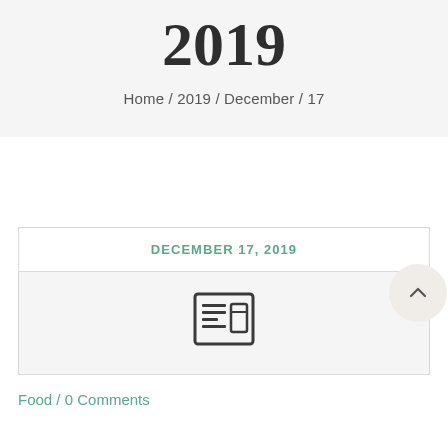2019
Home / 2019 / December / 17
DECEMBER 17, 2019
[Figure (other): Newspaper/article icon inside a card]
Food /  0 Comments